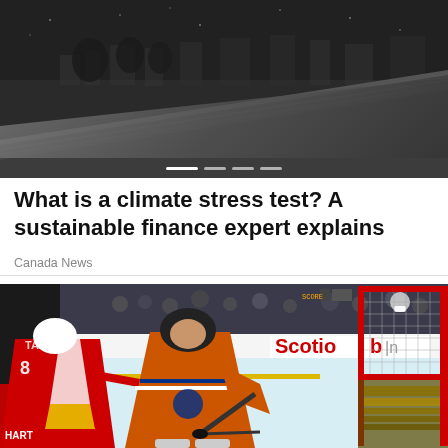[Figure (photo): Aerial/landscape black and white photo showing a diagonal slope or rooftop with buildings and trees in the background, with snow or rain. Slide indicator dots at the bottom.]
What is a climate stress test? A sustainable finance expert explains
Canada News
[Figure (photo): Ice hockey game photo showing an Edmonton Oilers player in orange jersey battling near the goal against Calgary Flames players in red/white jerseys. Scotiabank advertising board visible in background. Black background border.]